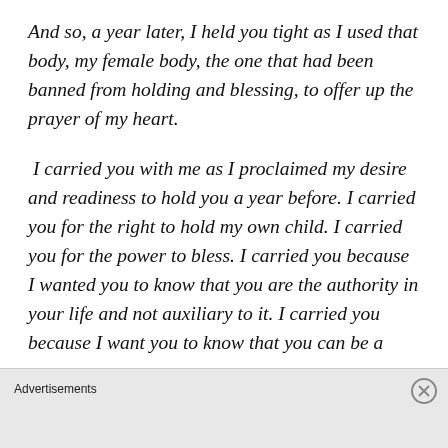And so, a year later, I held you tight as I used that body, my female body, the one that had been banned from holding and blessing, to offer up the prayer of my heart.
I carried you with me as I proclaimed my desire and readiness to hold you a year before. I carried you for the right to hold my own child. I carried you for the power to bless. I carried you because I wanted you to know that you are the authority in your life and not auxiliary to it. I carried you because I want you to know that you can be a [truncated]
Advertisements